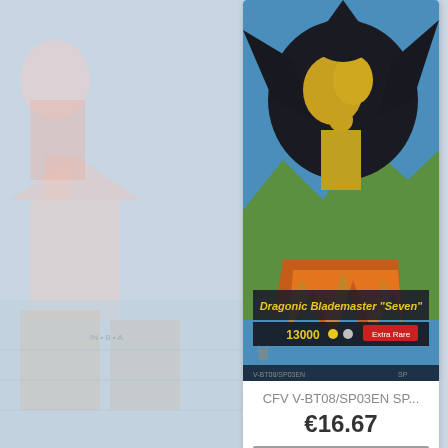[Figure (screenshot): Screenshot of an online trading card store showing two product listings. Left and right sides show blurred decorative anime card art as background. Center shows product cards. First card (top): CFV V-BT08/SP03EN SP... priced at €16.67, Out of Stock. Second card (partially visible bottom): another trading card product with anime art showing a female character with long dark hair and ornate headpiece.]
CFV V-BT08/SP03EN SP...
€16.67
OUT OF STOCK